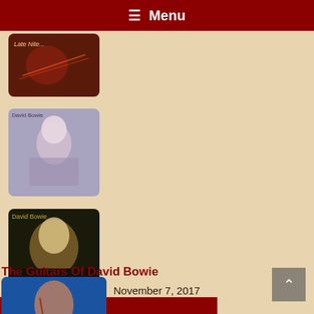≡ Menu
[Figure (photo): Album cover thumbnail - red toned music/guitar image]
[Figure (photo): Album cover thumbnail - David Bowie portrait in blue/grey dress]
[Figure (photo): Album cover thumbnail - David Bowie Moonlight portrait]
Popular Posts
The Guitars Of David Bowie
November 7, 2017
[Figure (photo): Post thumbnail - David Bowie playing red guitar in colorful outfit]